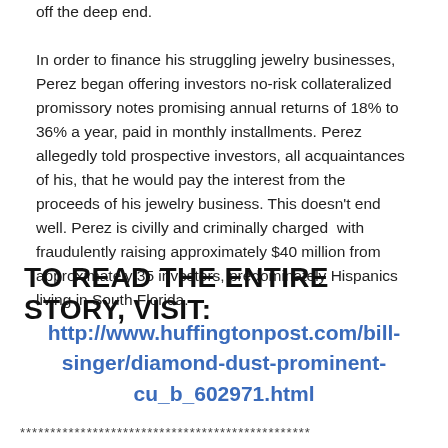off the deep end.

In order to finance his struggling jewelry businesses, Perez began offering investors no-risk collateralized promissory notes promising annual returns of 18% to 36% a year, paid in monthly installments. Perez allegedly told prospective investors, all acquaintances of his, that he would pay the interest from the proceeds of his jewelry business. This doesn't end well. Perez is civilly and criminally charged with fraudulently raising approximately $40 million from approximately 35 investors, predominately Hispanics living in South Florida.
TO READ THE ENTIRE STORY, VISIT:
http://www.huffingtonpost.com/bill-singer/diamond-dust-prominent-cu_b_602971.html
************************************************